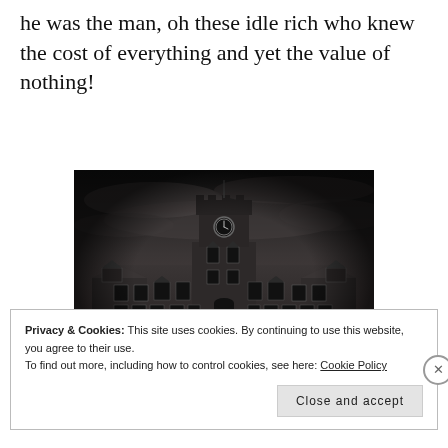he was the man, oh these idle rich who knew the cost of everything and yet the value of nothing!
[Figure (photo): Black and white dramatic photograph of a large Victorian-era building with a central clock tower, ornate facade, and multiple wings, under a dark stormy sky with a road leading to the entrance.]
Privacy & Cookies: This site uses cookies. By continuing to use this website, you agree to their use. To find out more, including how to control cookies, see here: Cookie Policy
Close and accept